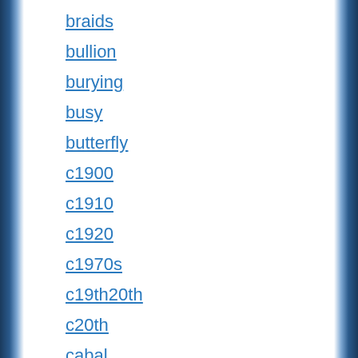braids
bullion
burying
busy
butterfly
c1900
c1910
c1920
c1970s
c19th20th
c20th
cabal
caddy
cage